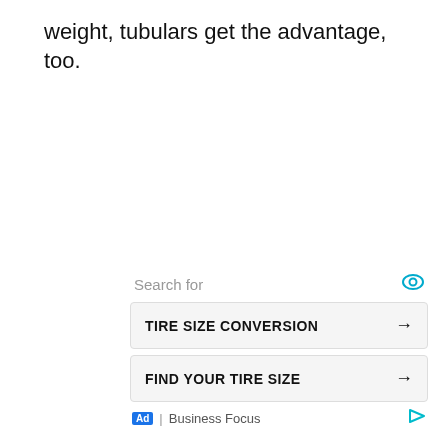weight, tubulars get the advantage, too.
Search for
TIRE SIZE CONVERSION →
FIND YOUR TIRE SIZE →
Ad | Business Focus